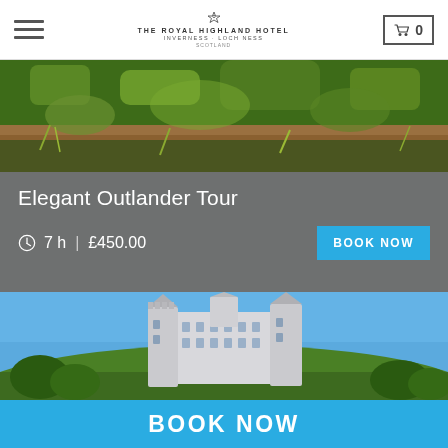THE ROYAL HIGHLAND HOTEL — INVERNESS · LOCH NESS · SCOTLAND
[Figure (photo): Aerial landscape photo showing green vegetation and stone/earth terrain in the Scottish Highlands]
Elegant Outlander Tour
7 h  |  £450.00
[Figure (photo): Photo of Dunrobin Castle, a Scottish baronial castle with white/grey stone towers against a bright blue sky, with green trees and hillside]
BOOK NOW